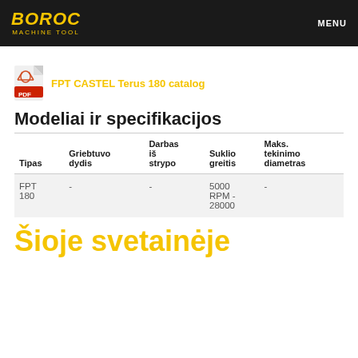BOROC MACHINE TOOL | MENU
[Figure (logo): PDF icon with link: FPT CASTEL Terus 180 catalog]
Modeliai ir specifikacijos
| Tipas | Griebtuvo dydis | Darbas iš strypo | Suklio greitis | Maks. tekinimo diametras |
| --- | --- | --- | --- | --- |
| FPT 180 | - | - | 5000 RPM - 28000 | - |
Šioje svetainėje